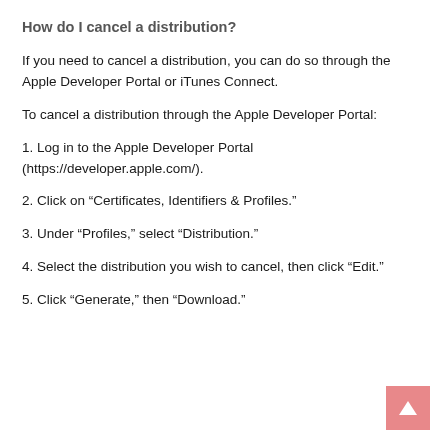How do I cancel a distribution?
If you need to cancel a distribution, you can do so through the Apple Developer Portal or iTunes Connect.
To cancel a distribution through the Apple Developer Portal:
1. Log in to the Apple Developer Portal (https://developer.apple.com/).
2. Click on “Certificates, Identifiers & Profiles.”
3. Under “Profiles,” select “Distribution.”
4. Select the distribution you wish to cancel, then click “Edit.”
5. Click “Generate,” then “Download.”